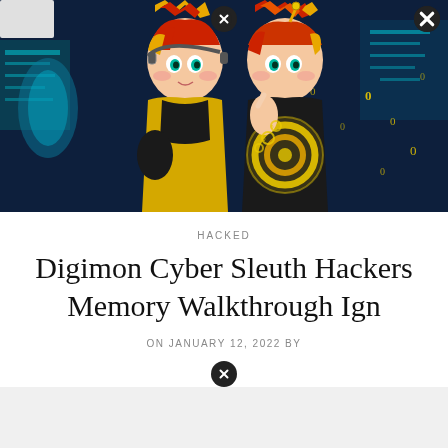[Figure (illustration): Anime-style illustration of two characters in black and yellow outfits with red/orange hair, set against a digital/cyberpunk background with glowing yellow circle and binary code elements.]
HACKED
Digimon Cyber Sleuth Hackers Memory Walkthrough Ign
ON JANUARY 12, 2022 BY